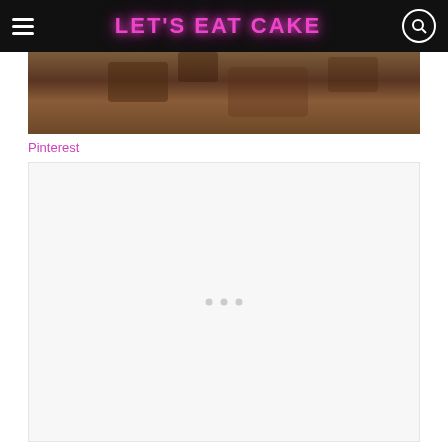LET'S EAT CAKE
[Figure (photo): Partial view of a brown cake or baked good, cropped image showing texture]
Pinterest
[Figure (other): Advertisement or content placeholder box, light gray background with loading dots indicator]